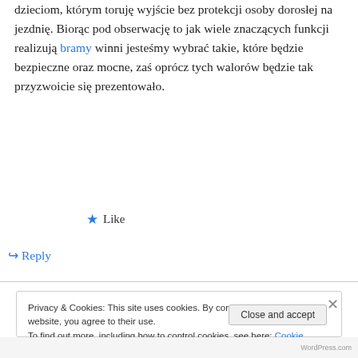dzieciom, którym toruję wyjście bez protekcji osoby dorosłej na jezdnię. Biorąc pod obserwację to jak wiele znaczących funkcji realizują bramy winni jesteśmy wybrać takie, które będzie bezpieczne oraz mocne, zaś oprócz tych walorów będzie tak przyzwoicie się prezentowało.
★ Like
↪ Reply
Privacy & Cookies: This site uses cookies. By continuing to use this website, you agree to their use.
To find out more, including how to control cookies, see here: Cookie Policy
Close and accept